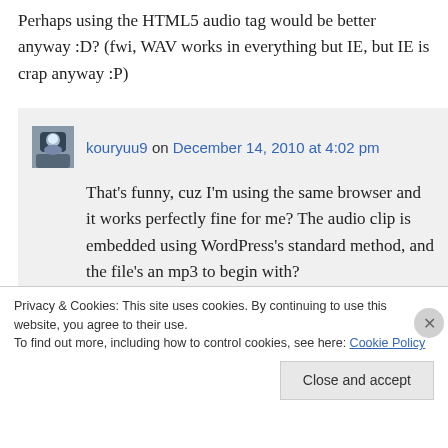Perhaps using the HTML5 audio tag would be better anyway :D? (fwi, WAV works in everything but IE, but IE is crap anyway :P)
kouryuu9 on December 14, 2010 at 4:02 pm
That's funny, cuz I'm using the same browser and it works perfectly fine for me? The audio clip is embedded using WordPress's standard method, and the file's an mp3 to begin with?
Privacy & Cookies: This site uses cookies. By continuing to use this website, you agree to their use.
To find out more, including how to control cookies, see here: Cookie Policy
Close and accept